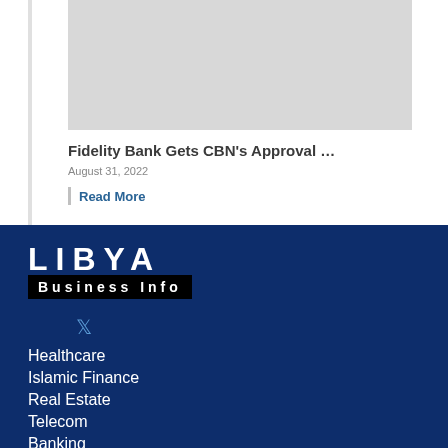[Figure (photo): Grey placeholder image for article thumbnail]
Fidelity Bank Gets CBN's Approval …
August 31, 2022
Read More
[Figure (logo): Libya Business Info logo - white text on dark blue background]
Healthcare
Islamic Finance
Real Estate
Telecom
Banking